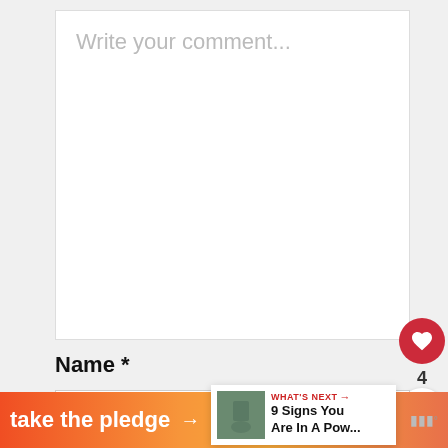Write your comment...
Name *
Name
[Figure (screenshot): A 'What's Next' sidebar panel showing a small thumbnail photo with text '9 Signs You Are In A Pow...' and red label 'WHAT'S NEXT →']
[Figure (infographic): Orange-pink gradient banner ad reading 'take the pledge →' with Release logo and heart icon]